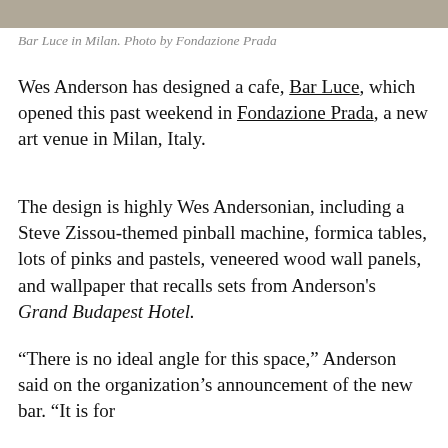[Figure (photo): Photo strip at the top of the page showing Bar Luce in Milan]
Bar Luce in Milan. Photo by Fondazione Prada
Wes Anderson has designed a cafe, Bar Luce, which opened this past weekend in Fondazione Prada, a new art venue in Milan, Italy.
The design is highly Wes Andersonian, including a Steve Zissou-themed pinball machine, formica tables, lots of pinks and pastels, veneered wood wall panels, and wallpaper that recalls sets from Anderson's Grand Budapest Hotel.
“There is no ideal angle for this space,” Anderson said on the organization’s announcement of the new bar. “It is for